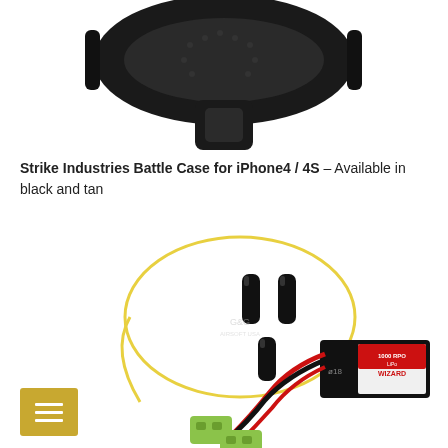[Figure (photo): Black rubber/silicone phone case with textured pattern, viewed from the bottom showing a loop or attachment point, on a white background.]
Strike Industries Battle Case for iPhone4 / 4S – Available in black and tan
[Figure (photo): Airsoft battery (LiPo) with red and black wires and two small green Tamiya connectors, accompanied by three black heat shrink tubing pieces arranged in a yellow wire circle, with a G&G Airsoft logo watermark in the center.]